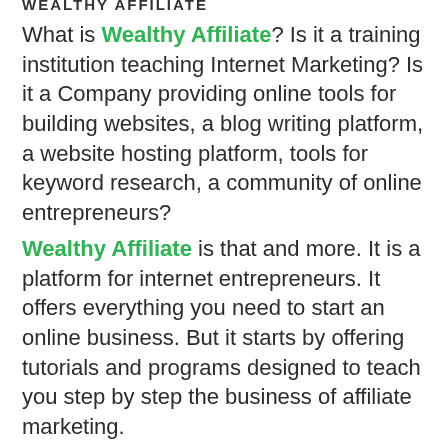WEALTHY AFFILIATE
What is Wealthy Affiliate? Is it a training institution teaching Internet Marketing? Is it a Company providing online tools for building websites, a blog writing platform, a website hosting platform, tools for keyword research, a community of online entrepreneurs?
Wealthy Affiliate is that and more. It is a platform for internet entrepreneurs. It offers everything you need to start an online business. But it starts by offering tutorials and programs designed to teach you step by step the business of affiliate marketing.